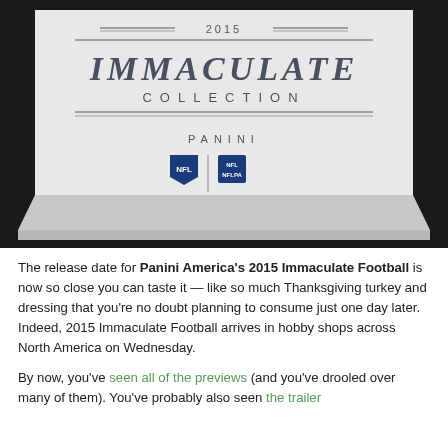[Figure (photo): Close-up photo of a white box for 2015 Immaculate Collection Football by Panini, showing NFL and NFLPA logos, on a dark background.]
The release date for Panini America's 2015 Immaculate Football is now so close you can taste it — like so much Thanksgiving turkey and dressing that you're no doubt planning to consume just one day later. Indeed, 2015 Immaculate Football arrives in hobby shops across North America on Wednesday.
By now, you've seen all of the previews (and you've drooled over many of them). You've probably also seen the trailer